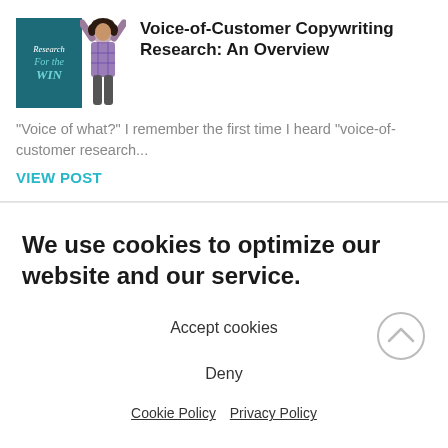[Figure (illustration): Blog post card image showing a teal book/cover with 'Research For the Win' text and a person with arms raised, wearing a plaid shirt]
Voice-of-Customer Copywriting Research: An Overview
"Voice of what?"  I remember the first time I heard "voice-of-customer research...
VIEW POST
We use cookies to optimize our website and our service.
Accept cookies
Deny
Cookie Policy  Privacy Policy